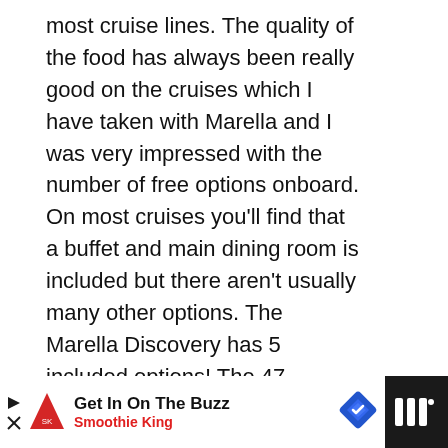most cruise lines. The quality of the food has always been really good on the cruises which I have taken with Marella and I was very impressed with the number of free options onboard. On most cruises you'll find that a buffet and main dining room is included but there aren't usually many other options. The Marella Discovery has 5 included options! The 47 restaurant, 47 gallery, snack shack, glass house and buffet.
ADVERTISEMENT
WHAT'S NEXT → Like Cruising With Americ...
Get In On The Buzz Smoothie King